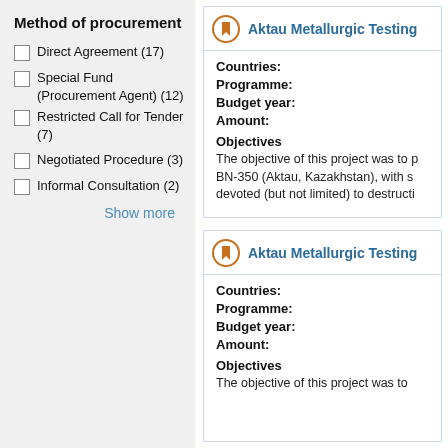Method of procurement
Direct Agreement (17)
Special Fund (Procurement Agent) (12)
Restricted Call for Tender (7)
Negotiated Procedure (3)
Informal Consultation (2)
Show more
Aktau Metallurgic Testing
Countries:
Programme:
Budget year:
Amount:
Objectives
The objective of this project was to p BN-350 (Aktau, Kazakhstan), with s devoted (but not limited) to destructi
Aktau Metallurgic Testing
Countries:
Programme:
Budget year:
Amount:
Objectives
The objective of this project was to